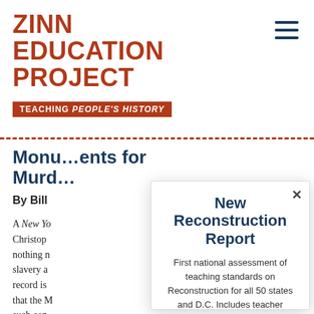ZINN EDUCATION PROJECT
TEACHING PEOPLE'S HISTORY
Monuments for Murder
By Bill
A New Yo Christop nothing n slavery a record is that the M such con American
New Reconstruction Report
First national assessment of teaching standards on Reconstruction for all 50 states and D.C. Includes teacher stories, primary documents, and recommendations.
Learn More